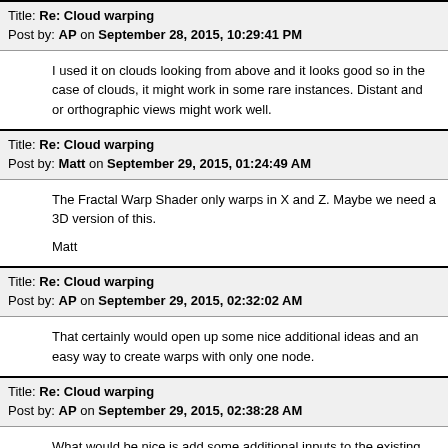Title: Re: Cloud warping
Post by: AP on September 28, 2015, 10:29:41 PM
I used it on clouds looking from above and it looks good so in the case of clouds, it might work in some rare instances. Distant and or orthographic views might work well.
Title: Re: Cloud warping
Post by: Matt on September 29, 2015, 01:24:49 AM
The Fractal Warp Shader only warps in X and Z. Maybe we need a 3D version of this.

Matt
Title: Re: Cloud warping
Post by: AP on September 29, 2015, 02:32:02 AM
That certainly would open up some nice additional ideas and an easy way to create warps with only one node.
Title: Re: Cloud warping
Post by: AP on September 29, 2015, 02:38:28 AM
What would be nice is add some additional inputs to the existing fractal warp shader. X, Y and Z check boxes for the warping axis and a